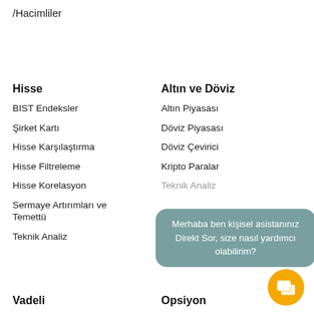/Hacimliler
Hisse
BIST Endeksler
Şirket Kartı
Hisse Karşılaştırma
Hisse Filtreleme
Hisse Korelasyon
Sermaye Artırımları ve Temettü
Teknik Analiz
Altın ve Döviz
Altın Piyasası
Döviz Piyasası
Döviz Çevirici
Kripto Paralar
Teknik Analiz
Merhaba ben kişisel asistanınız Direkt Sor, size nasıl yardımcı olabilirim?
Vadeli
Opsiyon